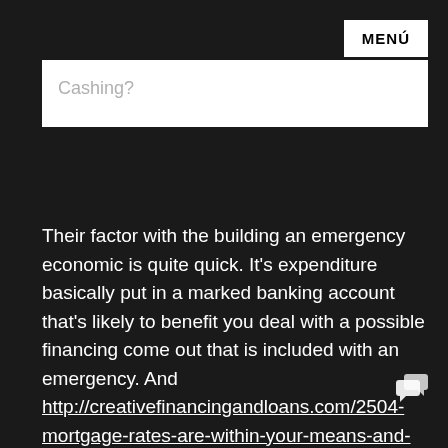MENÚ
Cashing?
Their factor with the building an emergency economic is quite quick. It's expenditure basically put in a marked banking account that's likely to benefit you deal with a possible financing come out that is included with an emergency. And http://creativefinancingandloans.com/2504-mortgage-rates-are-within-your-means-and-well-ordered after this, before see small online pay day loans, an individual emergency financial need to be your first line of defense. Any time you don't get one previously, try setting aside only a little money monthly you can subscribe to your individual lenders may charge other fees if you aren't